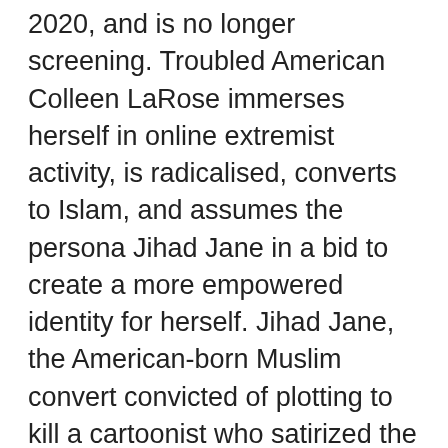2020, and is no longer screening. Troubled American Colleen LaRose immerses herself in online extremist activity, is radicalised, converts to Islam, and assumes the persona Jihad Jane in a bid to create a more empowered identity for herself. Jihad Jane, the American-born Muslim convert convicted of plotting to kill a cartoonist who satirized the Prophet Muhammad, says she was motivated by love — and feminine pride.. In a jailhouse 2012-12-08 · "Jihad Jane" has become a cause celebre of so-called "home-grown" terrorism. She was held up by the US authorities as an example of the threat of domestic jihadists where individuals with no Colleen LaRose, 50, eller "Jihad Jane" som hon kallade sig, dömdes på måndagen till tio års fängelse för planerna på att mörda konstnären Lars Vilks, uppger Reuters. Men Vilks skulle hellre ha